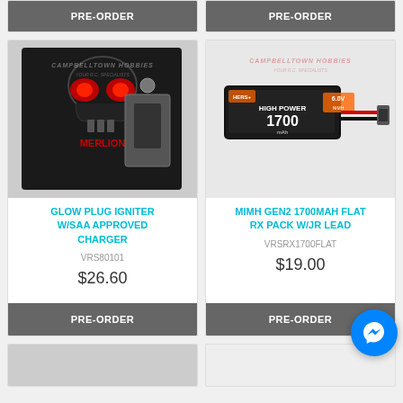PRE-ORDER (top left button)
PRE-ORDER (top right button)
[Figure (photo): Glow plug igniter product in black packaging with red skull logo, Merlion brand]
GLOW PLUG IGNITER W/SAA APPROVED CHARGER
VRS80101
$26.60
PRE-ORDER
[Figure (photo): MiMH Gen2 1700mAh flat RX pack with JR lead, black battery pack with orange/red wire]
MIMH GEN2 1700MAH FLAT RX PACK W/JR LEAD
VRSRX1700FLAT
$19.00
PRE-ORDER